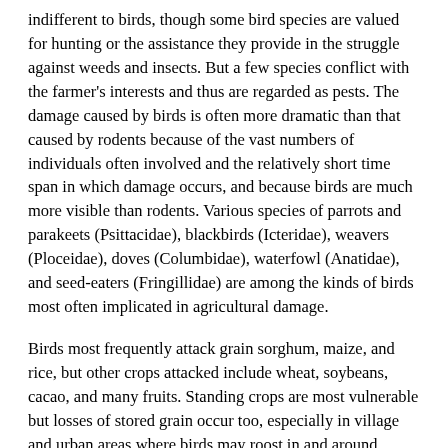indifferent to birds, though some bird species are valued for hunting or the assistance they provide in the struggle against weeds and insects. But a few species conflict with the farmer's interests and thus are regarded as pests. The damage caused by birds is often more dramatic than that caused by rodents because of the vast numbers of individuals often involved and the relatively short time span in which damage occurs, and because birds are much more visible than rodents. Various species of parrots and parakeets (Psittacidae), blackbirds (Icteridae), weavers (Ploceidae), doves (Columbidae), waterfowl (Anatidae), and seed-eaters (Fringillidae) are among the kinds of birds most often implicated in agricultural damage.
Birds most frequently attack grain sorghum, maize, and rice, but other crops attacked include wheat, soybeans, cacao, and many fruits. Standing crops are most vulnerable but losses of stored grain occur too, especially in village and urban areas where birds may roost in and around storage sites. Although they usually feed on spilled grain, birds often roost over the grain and contaminate the stores.